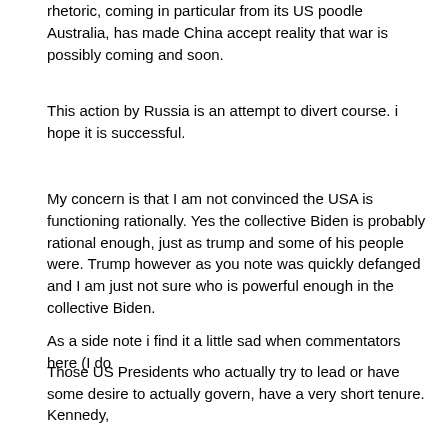rhetoric, coming in particular from its US poodle Australia, has made China accept reality that war is possibly coming and soon.
This action by Russia is an attempt to divert course. i hope it is successful.
My concern is that I am not convinced the USA is functioning rationally. Yes the collective Biden is probably rational enough, just as trump and some of his people were. Trump however as you note was quickly defanged and I am just not sure who is powerful enough in the collective Biden.
As a side note i find it a little sad when commentators here (I do not mean the article writers but in the comments section) carry on as if the personal characteristics of the US President matters much. Far, far more that in most other countries, the comments and public views of US politicians are just sham- made for political point scores and votes, rather than stuff they really believe. Moreover they are very, very rarely actors with real agency ie power to do anything.
Those US Presidents who actually try to lead or have some desire to actually govern, have a very short tenure. Kennedy,